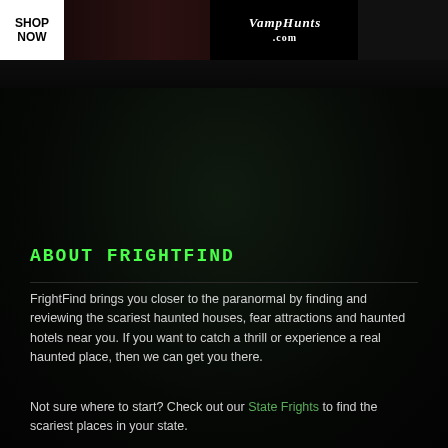[Figure (screenshot): Top banner with SHOP NOW box on the left, a dark horror-themed image in the center, a logo area reading 'VampHungs.com' or similar in styled text, and a dark right panel.]
ABOUT FRIGHTFIND
FrightFind brings you closer to the paranormal by finding and reviewing the scariest haunted houses, fear attractions and haunted hotels near you. If you want to catch a thrill or experience a real haunted place, then we can get you there.
Not sure where to start? Check out our State Frights to find the scariest places in your state.
Find us on Facebook
Follow us on Twitter